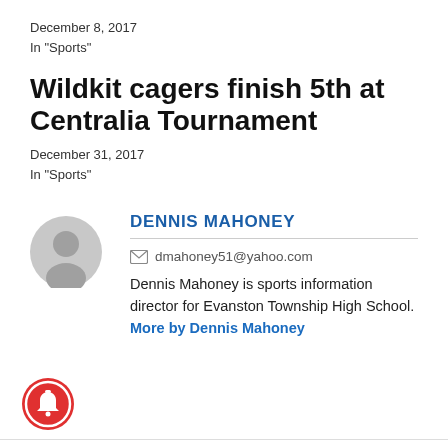December 8, 2017
In "Sports"
Wildkit cagers finish 5th at Centralia Tournament
December 31, 2017
In "Sports"
DENNIS MAHONEY
dmahoney51@yahoo.com
Dennis Mahoney is sports information director for Evanston Township High School. More by Dennis Mahoney